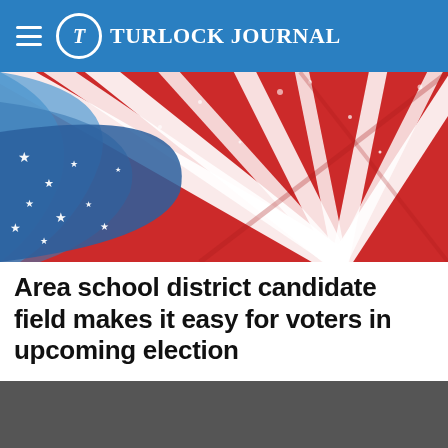Turlock Journal
[Figure (illustration): Patriotic American flag themed banner with red and white radiating stripes, blue section with white stars, decorative swirl design — used as hero image for election article]
Area school district candidate field makes it easy for voters in upcoming election
[Figure (photo): Dark gray/charcoal colored rectangular area — appears to be a loading or placeholder image block]